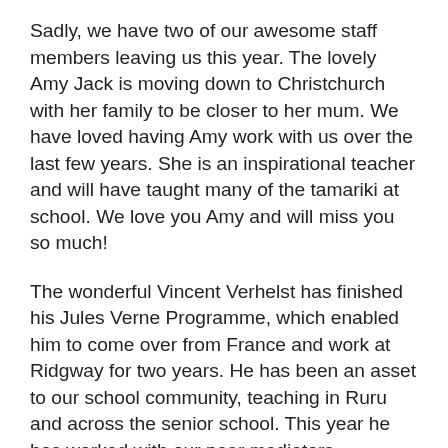Sadly, we have two of our awesome staff members leaving us this year.  The lovely Amy Jack is moving down to Christchurch with her family to be closer to her mum.  We have loved having Amy work with us over the last few years. She is an inspirational teacher and will have taught many of the tamariki at school.  We love you Amy and will miss you so much!
The wonderful Vincent Verhelst has finished his Jules Verne Programme, which enabled him to come over from France and work at Ridgway for two years.  He has been an asset to our school community, teaching in Ruru and across the senior school.  This year he has worked with our peer mediators, extension writers and in Ruru. We have been extremely lucky to have had him with us for the last two years and will miss him heaps. He's said we can all visit him and his family in France and stay for as long as we like when this whole